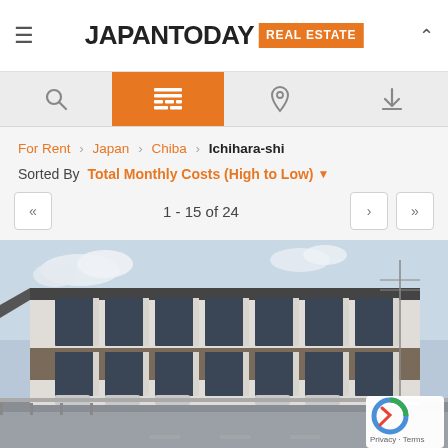JAPAN TODAY REAL ESTATE
For Rent › Japan › Chiba › Ichihara-shi
Sorted By Total Monthly Costs (High to Low)
1 - 15 of 24
[Figure (photo): Exterior photo of a modern two-storey apartment building with dark grey and beige facade, large windows, and air conditioning units visible.]